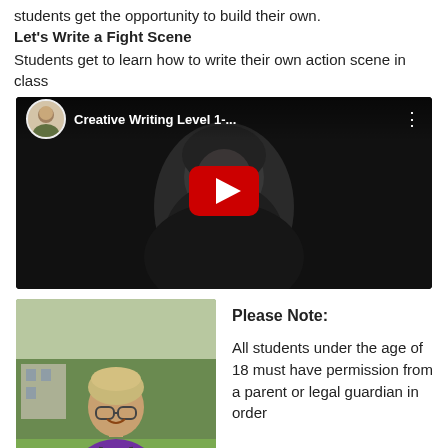students get the opportunity to build their own.
Let's Write a Fight Scene
Students get to learn how to write their own action scene in class
[Figure (screenshot): YouTube video thumbnail showing a person in a dark jacket. Video title reads 'Creative Writing Level 1-...' with a YouTube avatar of a woman in the top left corner and a red play button in the center.]
[Figure (photo): Photo of a person with short blonde hair and glasses, smiling, wearing a purple shirt with a backpack, standing outdoors in a park-like setting with trees and a building in the background.]
Please Note:
All students under the age of 18 must have permission from a parent or legal guardian in order